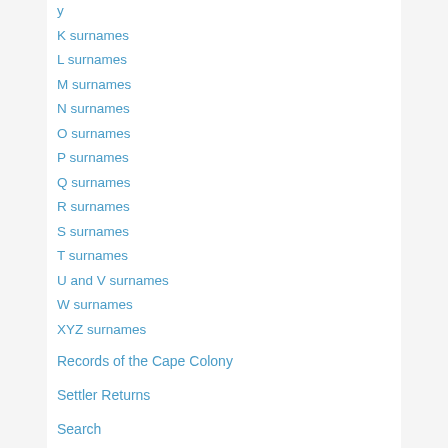K surnames
L surnames
M surnames
N surnames
O surnames
P surnames
Q surnames
R surnames
S surnames
T surnames
U and V surnames
W surnames
XYZ surnames
Records of the Cape Colony
Settler Returns
Search
Contact the Editor